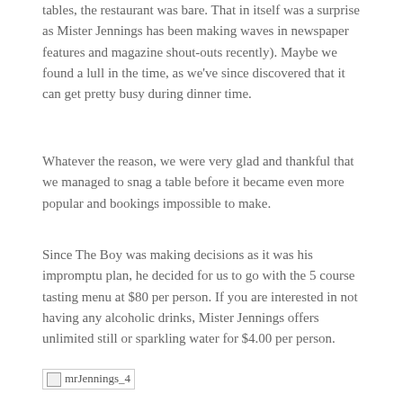tables, the restaurant was bare. That in itself was a surprise as Mister Jennings has been making waves in newspaper features and magazine shout-outs recently). Maybe we found a lull in the time, as we've since discovered that it can get pretty busy during dinner time.
Whatever the reason, we were very glad and thankful that we managed to snag a table before it became even more popular and bookings impossible to make.
Since The Boy was making decisions as it was his impromptu plan, he decided for us to go with the 5 course tasting menu at $80 per person. If you are interested in not having any alcoholic drinks, Mister Jennings offers unlimited still or sparkling water for $4.00 per person.
[Figure (photo): Image placeholder labeled mrJennings_4]